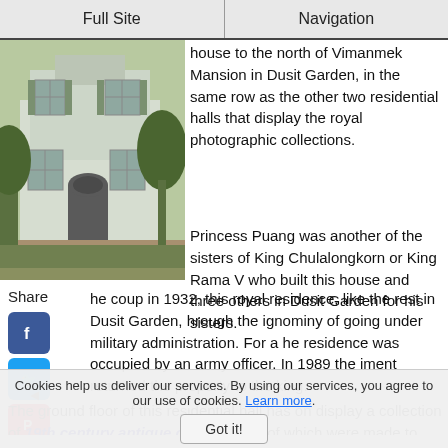Full Site | Navigation
[Figure (photo): Two-story white colonial-style house with green shutters and trees]
house to the north of Vimanmek Mansion in Dusit Garden, in the same row as the other two residential halls that display the royal photographic collections.
Princess Puang was another of the sisters of King Chulalongkorn or King Rama V who built this house and three others in Dusit Garden for his sisters.
he coup in 1932, this royal residence, like the rest in Dusit Garden, hrough the ignominy of going under military administration. For a he residence was occupied by an army officer. In 1989 the iment returned the property to the king.
The ground floor of this residential hall has on display a collection of 19th century antique clocks some of which were made to order for King Rama V. The collection includes antique grandfather clocks, mantel clocks
Cookies help us deliver our services. By using our services, you agree to our use of cookies. Learn more.
Got it!